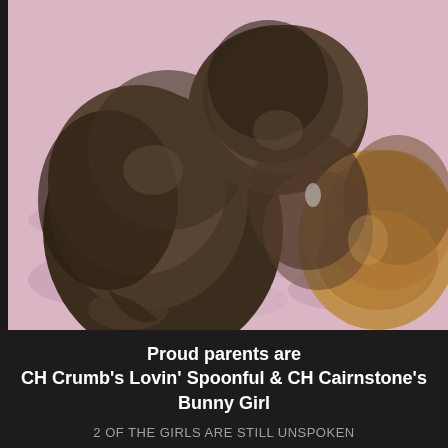[Figure (photo): Newborn puppies lying together on a pink fluffy blanket, viewed from above. Three puppies with dark brown/brindle fur are huddled close together.]
Proud parents are
CH Crumb's Lovin' Spoonful & CH Cairnstone's Bunny Girl
2 OF THE GIRLS ARE STILL UNSPOKEN